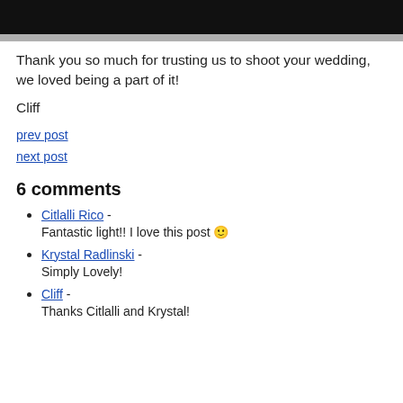[Figure (photo): Dark/black photo strip at the top of the page, appears to be a wedding photo.]
Thank you so much for trusting us to shoot your wedding, we loved being a part of it!
Cliff
prev post
next post
6 comments
Citlalli Rico - 
Fantastic light!! I love this post 🙂
Krystal Radlinski - 
Simply Lovely!
Cliff - 
Thanks Citlalli and Krystal!